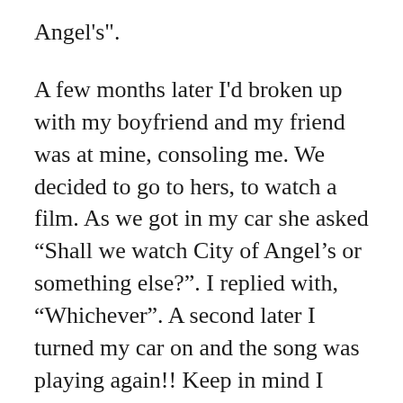Angel's".
A few months later I'd broken up with my boyfriend and my friend was at mine, consoling me. We decided to go to hers, to watch a film. As we got in my car she asked “Shall we watch City of Angel’s or something else?". I replied with, “Whichever". A second later I turned my car on and the song was playing again!! Keep in mind I hadn’t heard it for months!
There were two more times I heard the song and strange things related to it happened. Anyway, the other month I sat in bed so depressed, so I asked in my head for a sign. I specifically asked to hear that